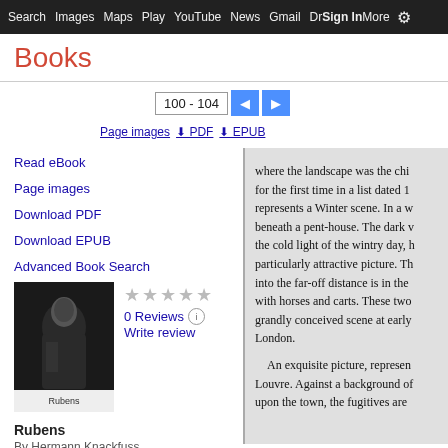Search  Images  Maps  Play  YouTube  News  Gmail  Drive  More  Sign in
Books
100 - 104
Page images
PDF
EPUB
Read eBook
Page images
Download PDF
Download EPUB
Advanced Book Search
Help
My library
[Figure (photo): Book cover for Rubens by Hermann Knackfuss, dark portrait image]
0 Reviews
Write review
Rubens
By Hermann Knackfuss
where the landscape was the chi... for the first time in a list dated 1... represents a Winter scene. In a w... beneath a pent-house. The dark w... the cold light of the wintry day, ... particularly attractive picture. Th... into the far-off distance is in the ... with horses and carts. These two... grandly conceived scene at early... London.

An exquisite picture, represen... Louvre. Against a background of... upon the town, the fugitives are...